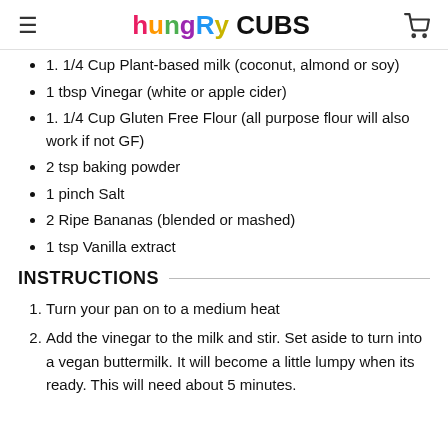hungry CUBS
1. 1/4 Cup Plant-based milk (coconut, almond or soy)
1 tbsp Vinegar (white or apple cider)
1. 1/4 Cup Gluten Free Flour (all purpose flour will also work if not GF)
2 tsp baking powder
1 pinch Salt
2 Ripe Bananas (blended or mashed)
1 tsp Vanilla extract
INSTRUCTIONS
Turn your pan on to a medium heat
Add the vinegar to the milk and stir. Set aside to turn into a vegan buttermilk. It will become a little lumpy when its ready. This will need about 5 minutes.